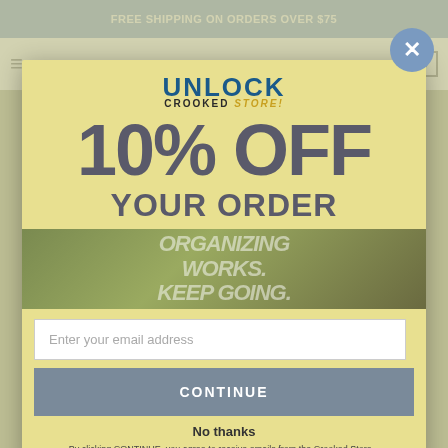FREE SHIPPING ON ORDERS OVER $75
[Figure (logo): Crooked Store navigation logo with hamburger menu and cart]
UNLOCK
10% OFF
YOUR ORDER
[Figure (illustration): Product image with text: ORGANIZING WORKS. KEEP GOING.]
Enter your email address
CONTINUE
No thanks
By clicking CONTINUE, you agree to receive emails from the Crooked Store...